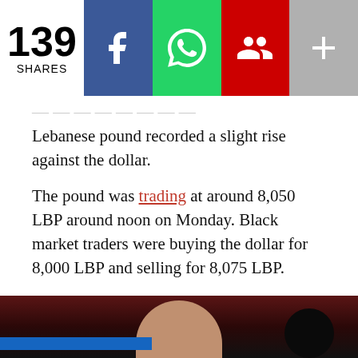[Figure (screenshot): Social share bar showing 139 shares count on left, followed by Facebook (blue), WhatsApp (green), LinkedIn/contacts (red), and more (+) (gray) share buttons]
...the Lebanese pound recorded a slight rise against the dollar.
The pound was trading at around 8,050 LBP around noon on Monday. Black market traders were buying the dollar for 8,000 LBP and selling for 8,075 LBP.
Recently, the pound had hit its lowest rate in a month. The dollar surpassed 8,000 LBP for the first time since Future Movement leader Saad Hariri was elected Prime Minister-designate.
[Figure (photo): Partial photo strip at bottom showing a person's head/face against a dark red/maroon background with a blue bar element and dark circle on right side]